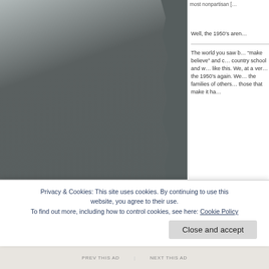[Figure (photo): Grayscale/dark gray torn-edge photograph occupying the left two-thirds of the page, showing a muted gray textured surface with a torn right edge.]
most nonpartisan [truncated]
Well, the 1950’s aren [truncated]
The world you saw b“make believe” and c country school and w like this. We, at a ver the 1950’s again. We the families of others those that make it ha [truncated]
Privacy & Cookies: This site uses cookies. By continuing to use this website, you agree to their use.
To find out more, including how to control cookies, see here: Cookie Policy
Close and accept
PREV THIS AD    NEXT THIS AD